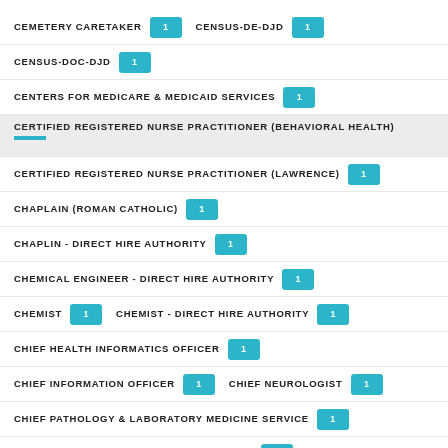CEMETERY CARETAKER (1)
CENSUS-DE-DJD (1)
CENSUS-DOC-DJD (1)
CENTERS FOR MEDICARE & MEDICAID SERVICES (1)
CERTIFIED REGISTERED NURSE PRACTITIONER (BEHAVIORAL HEALTH)
CERTIFIED REGISTERED NURSE PRACTITIONER (LAWRENCE) (1)
CHAPLAIN (ROMAN CATHOLIC) (1)
CHAPLIN - DIRECT HIRE AUTHORITY (1)
CHEMICAL ENGINEER - DIRECT HIRE AUTHORITY (1)
CHEMIST (1)
CHEMIST - DIRECT HIRE AUTHORITY (1)
CHIEF HEALTH INFORMATICS OFFICER (1)
CHIEF INFORMATION OFFICER (1)
CHIEF NEUROLOGIST (1)
CHIEF PATHOLOGY & LABORATORY MEDICINE SERVICE (1)
CHIEF PATHOLOGY & LABORATORY SERVICE (1)